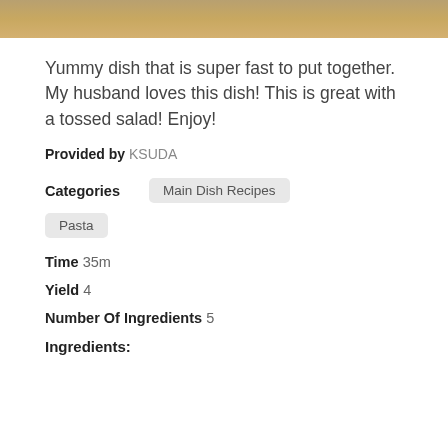[Figure (photo): Top portion of a food photo showing a pasta or main dish]
Yummy dish that is super fast to put together. My husband loves this dish! This is great with a tossed salad! Enjoy!
Provided by KSUDA
Categories   Main Dish Recipes   Pasta
Time 35m
Yield 4
Number Of Ingredients 5
Ingredients: